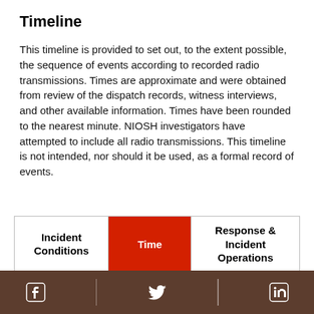Timeline
This timeline is provided to set out, to the extent possible, the sequence of events according to recorded radio transmissions. Times are approximate and were obtained from review of the dispatch records, witness interviews, and other available information. Times have been rounded to the nearest minute. NIOSH investigators have attempted to include all radio transmissions. This timeline is not intended, nor should it be used, as a formal record of events.
| Incident Conditions | Time | Response & Incident Operations |
| --- | --- | --- |